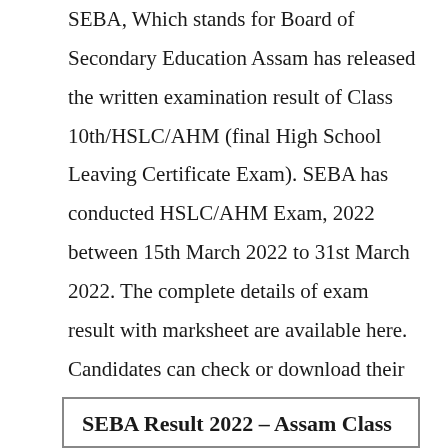SEBA, Which stands for Board of Secondary Education Assam has released the written examination result of Class 10th/HSLC/AHM (final High School Leaving Certificate Exam). SEBA has conducted HSLC/AHM Exam, 2022 between 15th March 2022 to 31st March 2022. The complete details of exam result with marksheet are available here. Candidates can check or download their result from the Links given below –
SEBA Result 2022 – Assam Class